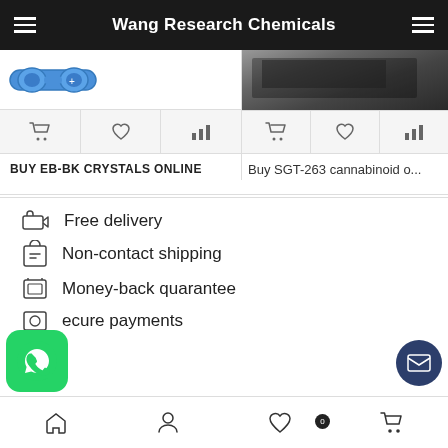Wang Research Chemicals
[Figure (screenshot): Partial product image with goggles icon on left, dark packaged product photo on right]
BUY EB-BK CRYSTALS ONLINE
Buy SGT-263 cannabinoid o...
Free delivery
Non-contact shipping
Money-back quarantee
...ecure payments
Home | Account | Wishlist (0) | Cart